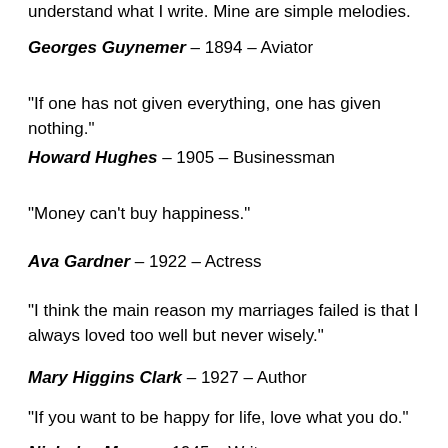understand what I write. Mine are simple melodies.
Georges Guynemer – 1894 – Aviator
“If one has not given everything, one has given nothing.”
Howard Hughes – 1905 – Businessman
“Money can’t buy happiness.”
Ava Gardner – 1922 – Actress
“I think the main reason my marriages failed is that I always loved too well but never wisely.”
Mary Higgins Clark – 1927 – Author
“If you want to be happy for life, love what you do.”
Nicholas Meyer – 1945 – Writer